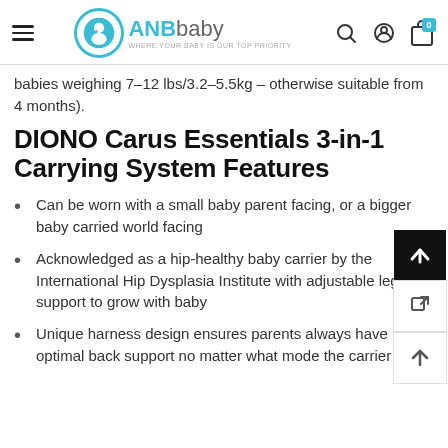ANBbaby — WHERE YOUR BABY IS OUR TOP PRIORITY
babies weighing 7-12 lbs/3.2-5.5kg – otherwise suitable from 4 months).
DIONO Carus Essentials 3-in-1 Carrying System Features
Can be worn with a small baby parent facing, or a bigger baby carried world facing
Acknowledged as a hip-healthy baby carrier by the International Hip Dysplasia Institute with adjustable leg support to grow with baby
Unique harness design ensures parents always have optimal back support no matter what mode the carrier is in